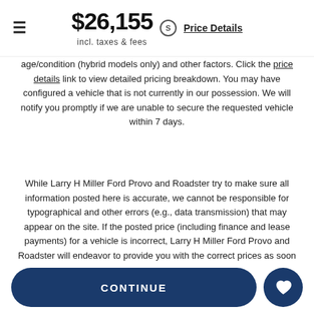$26,155 incl. taxes & fees | Price Details
age/condition (hybrid models only) and other factors. Click the price details link to view detailed pricing breakdown. You may have configured a vehicle that is not currently in our possession. We will notify you promptly if we are unable to secure the requested vehicle within 7 days.
While Larry H Miller Ford Provo and Roadster try to make sure all information posted here is accurate, we cannot be responsible for typographical and other errors (e.g., data transmission) that may appear on the site. If the posted price (including finance and lease payments) for a vehicle is incorrect, Larry H Miller Ford Provo and Roadster will endeavor to provide you with the correct prices as soon as we become aware of the error. In the event a vehicle is priced incorrectly, Larry H Miller Ford Provo shall have the right to refuse or cancel any orders placed for the vehicle presented with the incorrect price. In addition, vehicle prices are subject to change and all vehicles are subject to prior sale and may not be available when you are ready to purchase.
CONTINUE